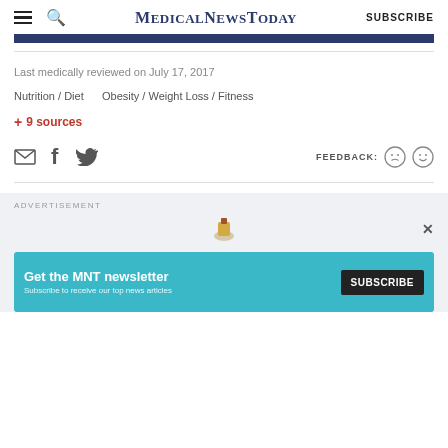MedicalNewsToday SUBSCRIBE
Last medically reviewed on July 17, 2017
Nutrition / Diet   Obesity / Weight Loss / Fitness
+ 9 sources
[Figure (other): Social sharing icons (email, Facebook, Twitter) and feedback emoticons (sad face, happy face) with FEEDBACK label]
ADVERTISEMENT
[Figure (other): Advertisement banner: Get the MNT newsletter - Subscribe to receive our top news articles. SUBSCRIBE button with globe illustration.]